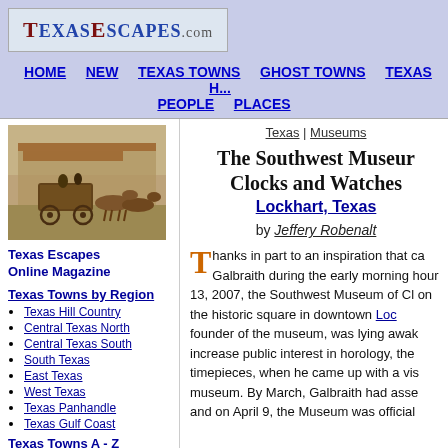TexasEscapes.com
HOME | NEW | TEXAS TOWNS | GHOST TOWNS | TEXAS H... | PEOPLE | PLACES
[Figure (photo): Historical sepia photo of a stagecoach with horses and people in front of an old building]
Texas Escapes Online Magazine
Texas Towns by Region
Texas Hill Country
Central Texas North
Central Texas South
South Texas
East Texas
West Texas
Texas Panhandle
Texas Gulf Coast
Texas Towns A - Z
Over 2700 Towns
Texas Ghost Towns
Over 700 Ghost Towns
Texas | Museums
The Southwest Museum of Clocks and Watches
Lockhart, Texas
by Jeffery Robenalt
Thanks in part to an inspiration that ca... Galbraith during the early morning hou... 13, 2007, the Southwest Museum of Cl... on the historic square in downtown Loc... founder of the museum, was lying awa... increase public interest in horology, the... timepieces, when he came up with a vis... museum. By March, Galbraith had asse... and on April 9, the Museum was official...